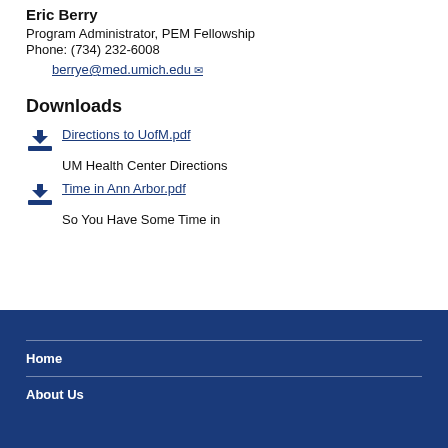Eric Berry
Program Administrator, PEM Fellowship
Phone: (734) 232-6008
berrye@med.umich.edu
Downloads
Directions to UofM.pdf
UM Health Center Directions
Time in Ann Arbor.pdf
So You Have Some Time in
Home
About Us